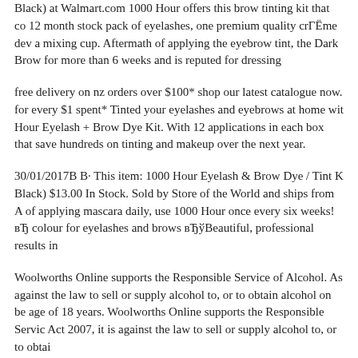Black) at Walmart.com 1000 Hour offers this brow tinting kit that co 12 month stock pack of eyelashes, one premium quality crГËme dev a mixing cup. Aftermath of applying the eyebrow tint, the Dark Brow for more than 6 weeks and is reputed for dressing
free delivery on nz orders over $100* shop our latest catalogue now. for every $1 spent* Tinted your eyelashes and eyebrows at home wit Hour Eyelash + Brow Dye Kit. With 12 applications in each box that save hundreds on tinting and makeup over the next year.
30/01/2017В В· This item: 1000 Hour Eyelash & Brow Dye / Tint K Black) $13.00 In Stock. Sold by Store of the World and ships from A of applying mascara daily, use 1000 Hour once every six weeks! вЂ colour for eyelashes and brows вЂўBeautiful, professional results in
Woolworths Online supports the Responsible Service of Alcohol. As against the law to sell or supply alcohol to, or to obtain alcohol on be age of 18 years. Woolworths Online supports the Responsible Servic Act 2007, it is against the law to sell or supply alcohol to, or to obtai